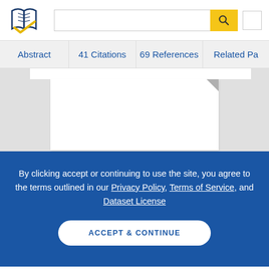[Figure (logo): Semantic Scholar logo — stylized dark blue open book pages with gold checkmark]
Abstract | 41 Citations | 69 References | Related Pa...
[Figure (screenshot): White paper document preview area on grey background with folded corner]
By clicking accept or continuing to use the site, you agree to the terms outlined in our Privacy Policy, Terms of Service, and Dataset License
ACCEPT & CONTINUE